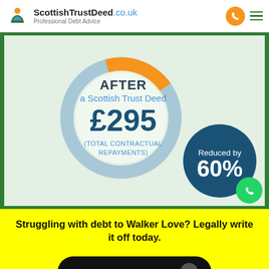ScottishTrustDeed.co.uk — Professional Debt Advice
[Figure (donut-chart): Donut/ring chart showing debt repayment reduction. Large ring mostly blue/grey with orange arc segment top-right. Center text: AFTER a Scottish Trust Deed £295 (TOTAL CONTRACTUAL REPAYMENTS). Badge: Reduced by 60%.]
Struggling with debt to Walker Love? Legally write it off today.
SEE IF YOU QUALIFY